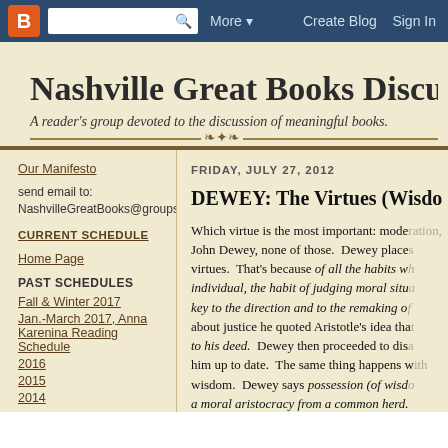Blogger navbar with logo, search, More, Create Blog, Sign In
Nashville Great Books Discussion
A reader's group devoted to the discussion of meaningful books.
Our Manifesto
send email to: NashvilleGreatBooks@groups.io
CURRENT SCHEDULE
Home Page
PAST SCHEDULES
Fall & Winter 2017
Jan.-March 2017, Anna Karenina Reading Schedule
2016
2015
2014
FRIDAY, JULY 27, 2012
DEWEY: The Virtues (Wisdom
Which virtue is the most important: moderation, courage, or justice? According to John Dewey, none of those. Dewey places wisdom at the top of the virtues. That's because of all the habits which constitute the character of the individual, the habit of judging moral situations is the one most strategic, most key to the direction and to the remaking of other habits. When Dewey wrote about justice he quoted Aristotle's idea tha... to his deed. Dewey then proceeded to disagree and bring him up to date. The same thing happens with wisdom. Dewey says possession (of wisdom) separates a moral aristocracy from a common herd. Aristotle's analysis is correct; but not Dewey's conclusion. It's true, this way: it distinguishes those who have